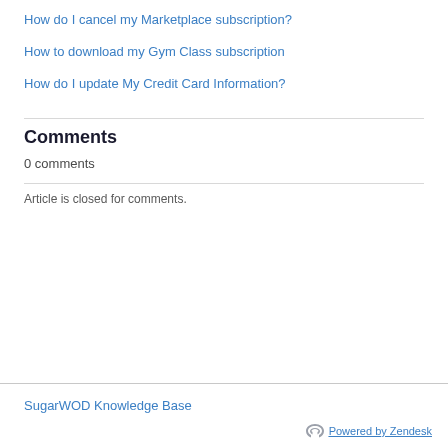How do I cancel my Marketplace subscription?
How to download my Gym Class subscription
How do I update My Credit Card Information?
Comments
0 comments
Article is closed for comments.
SugarWOD Knowledge Base
Powered by Zendesk